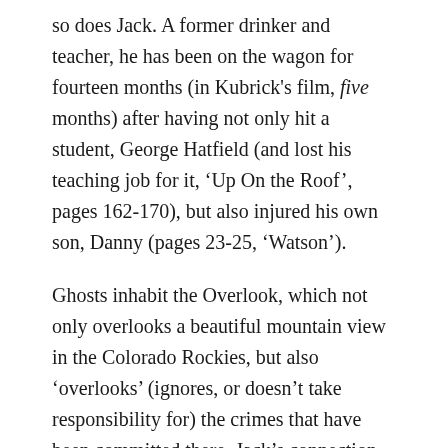so does Jack. A former drinker and teacher, he has been on the wagon for fourteen months (in Kubrick's film, five months) after having not only hit a student, George Hatfield (and lost his teaching job for it, 'Up On the Roof', pages 162-170), but also injured his own son, Danny (pages 23-25, 'Watson').
Ghosts inhabit the Overlook, which not only overlooks a beautiful mountain view in the Colorado Rockies, but also 'overlooks' (ignores, or doesn't take responsibility for) the crimes that have been committed there. Jack's connection with the Overlook–more and more complete as he goes mad in his attachment to the place, trying to ensure that he and his family never leave–shows how he is at one with the hotel. He has "always been the